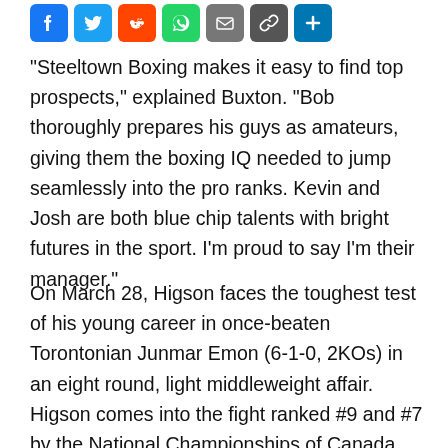[Figure (other): Social media sharing icons: Facebook, Twitter, Reddit, WhatsApp, Email, Copy link, Share]
"Steeltown Boxing makes it easy to find top prospects," explained Buxton. "Bob thoroughly prepares his guys as amateurs, giving them the boxing IQ needed to jump seamlessly into the pro ranks. Kevin and Josh are both blue chip talents with bright futures in the sport. I'm proud to say I'm their manager."
On March 28, Higson faces the toughest test of his young career in once-beaten Torontonian Junmar Emon (6-1-0, 2KOs) in an eight round, light middleweight affair. Higson comes into the fight ranked #9 and #7 by the National Championships of Canada (NCC) and Canadian Professional Boxing Council (CPBC),